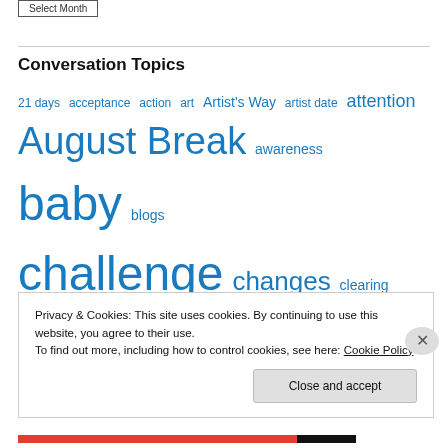Select Month (button)
Conversation Topics
21 days acceptance action art Artist's Way artist date attention August Break awareness baby blogs challenge changes clearing space clutter coffee date comfort with the unknown connection conversations courage creative work creativity daily intention daily
Privacy & Cookies: This site uses cookies. By continuing to use this website, you agree to their use. To find out more, including how to control cookies, see here: Cookie Policy
Close and accept